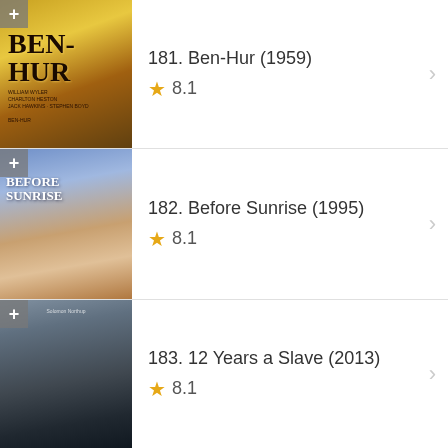[Figure (other): Ben-Hur (1959) movie poster thumbnail with golden/yellow color scheme]
181. Ben-Hur (1959) ★ 8.1
[Figure (other): Before Sunrise (1995) movie poster thumbnail with blue sky and romantic couple]
182. Before Sunrise (1995) ★ 8.1
[Figure (other): 12 Years a Slave (2013) movie poster thumbnail with dark tones]
183. 12 Years a Slave (2013) ★ 8.1